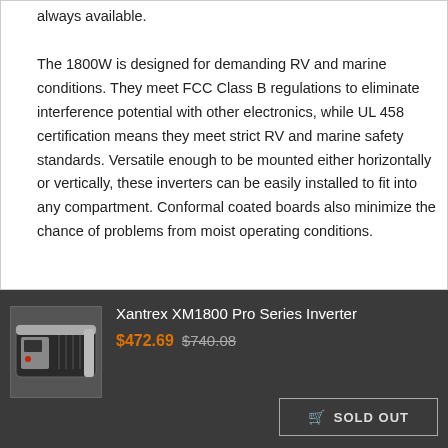always available. The 1800W is designed for demanding RV and marine conditions. They meet FCC Class B regulations to eliminate interference potential with other electronics, while UL 458 certification means they meet strict RV and marine safety standards. Versatile enough to be mounted either horizontally or vertically, these inverters can be easily installed to fit into any compartment. Conformal coated boards also minimize the chance of problems from moist operating conditions.
[Figure (photo): Product photo of Xantrex XM1800 Pro Series Inverter, a dark-colored rectangular electronic device with a display panel.]
Xantrex XM1800 Pro Series Inverter $472.69 $740.08
SOLD OUT